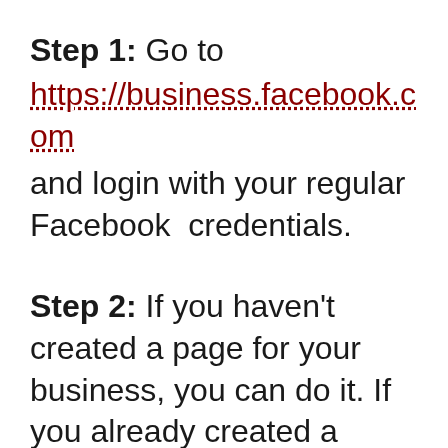Step 1: Go to https://business.facebook.com and login with your regular Facebook credentials.
Step 2: If you haven't created a page for your business, you can do it. If you already created a page, you should claim your